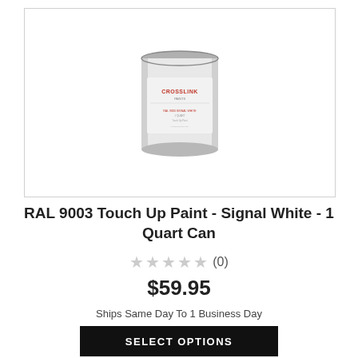[Figure (photo): White paint can with CROSSLINK brand label, 1 quart size, shown against white background inside a bordered image box]
RAL 9003 Touch Up Paint - Signal White - 1 Quart Can
★★★★★ (0)
$59.95
Ships Same Day To 1 Business Day
SELECT OPTIONS